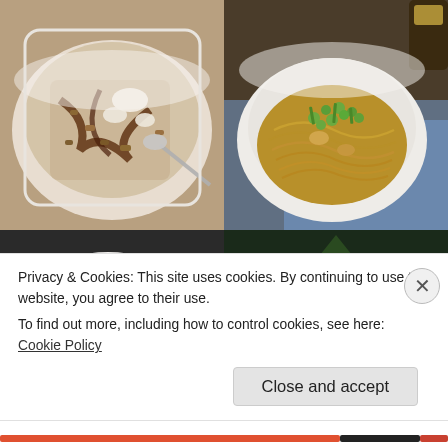[Figure (photo): Bowl with granola, nuts, brown sugar/syrup mixture and a spoon, white square bowl on white surface]
[Figure (photo): White bowl of soba noodles topped with green peas, green onions, and sliced mushrooms, on blue cloth, with a bottle in background]
[Figure (photo): A thin crepe/flatbread on a plate being cut with a fork and knife on dark surface]
[Figure (photo): Baby/toddler peeking from behind a decorated Christmas tree with lights and ornaments]
Privacy & Cookies: This site uses cookies. By continuing to use this website, you agree to their use.
To find out more, including how to control cookies, see here: Cookie Policy
Close and accept